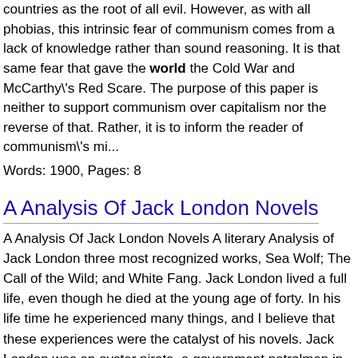countries as the root of all evil. However, as with all phobias, this intrinsic fear of communism comes from a lack of knowledge rather than sound reasoning. It is that same fear that gave the world the Cold War and McCarthy's Red Scare. The purpose of this paper is neither to support communism over capitalism nor the reverse of that. Rather, it is to inform the reader of communism's mi...
Words: 1900, Pages: 8
A Analysis Of Jack London Novels
A Analysis Of Jack London Novels A literary Analysis of Jack London three most recognized works, Sea Wolf; The Call of the Wild; and White Fang. Jack London lived a full life, even though he died at the young age of forty. In his life time he experienced many things, and I believe that these experiences were the catalyst of his novels. Jack London was an oyster pirate, a government patrolman in San Francisco Bay, a sailor